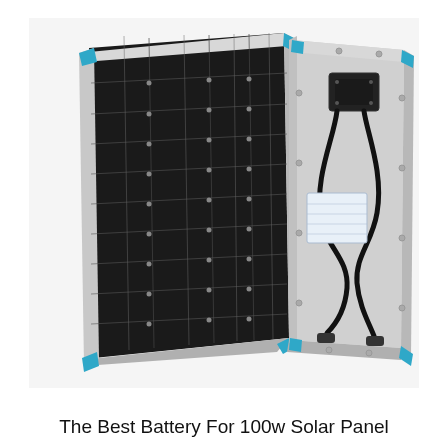[Figure (photo): Product photo showing a 100w monocrystalline solar panel from two angles: the front face displaying the dark photovoltaic cells with silver gridlines and blue corner brackets, and the back showing the white/grey backing with a black junction box and cable loop with connectors, both panels in a silver aluminum frame.]
The Best Battery For 100w Solar Panel